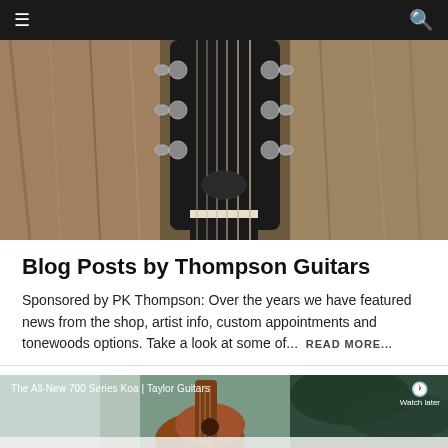☰  🔍
[Figure (photo): Close-up photo of a guitar headstock with tuning pegs and strings against a blurred background of dry grass or similar natural texture]
Blog Posts by Thompson Guitars
Sponsored by PK Thompson: Over the years we have featured news from the shop, artist info, custom appointments and tonewoods options. Take a look at some of...  READ MORE...
[Figure (screenshot): Video thumbnail showing a guitar in a room setting with text overlay 'The All-New 700 Series Koa | Taylor Guitars' and a watch later clock icon in the top right corner]